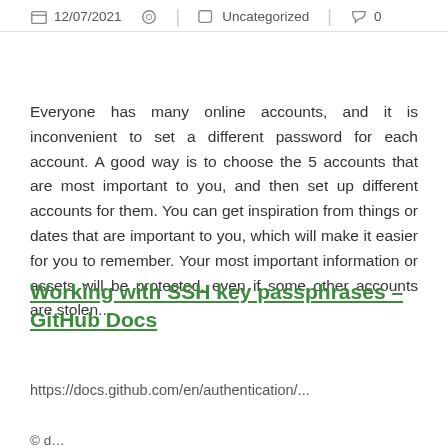12/07/2021   Uncategorized   0
Everyone has many online accounts, and it is inconvenient to set a different password for each account. A good way is to choose the 5 accounts that are most important to you, and then set up different accounts for them. You can get inspiration from things or dates that are important to you, which will make it easier for you to remember. Your most important information or assets will be protected, even if some other accounts are stolen..
Working with SSH key passphrases – GitHub Docs
https://docs.github.com/en/authentication/...
© d...